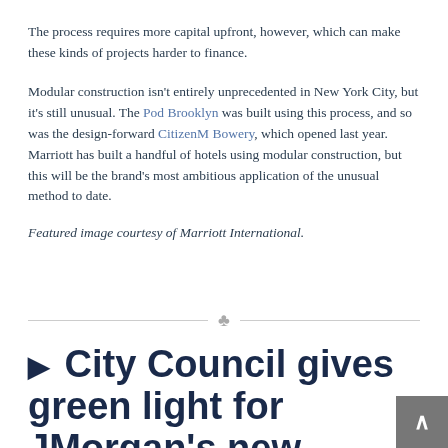The process requires more capital upfront, however, which can make these kinds of projects harder to finance.
Modular construction isn't entirely unprecedented in New York City, but it's still unusual. The Pod Brooklyn was built using this process, and so was the design-forward CitizenM Bowery, which opened last year. Marriott has built a handful of hotels using modular construction, but this will be the brand's most ambitious application of the unusual method to date.
Featured image courtesy of Marriott International.
City Council gives green light for JMorgan's new headquarters in Midtown